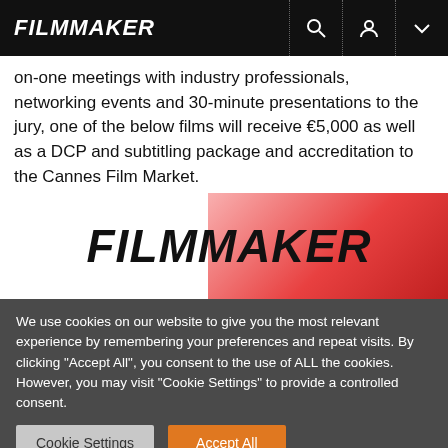FILMMAKER
on-one meetings with industry professionals, networking events and 30-minute presentations to the jury, one of the below films will receive €5,000 as well as a DCP and subtitling package and accreditation to the Cannes Film Market.
[Figure (logo): FILMMAKER logo with red/pink gradient background, bold italic text]
We use cookies on our website to give you the most relevant experience by remembering your preferences and repeat visits. By clicking "Accept All", you consent to the use of ALL the cookies. However, you may visit "Cookie Settings" to provide a controlled consent.